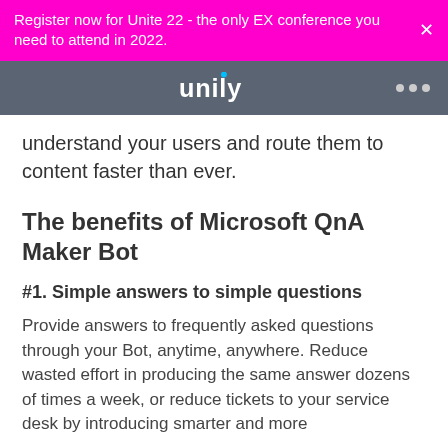Register now for Unite 22 - the only EX conference you need to attend in 2022.
[Figure (logo): Unily logo on dark grey navigation bar with three dots menu icon]
understand your users and route them to content faster than ever.
The benefits of Microsoft QnA Maker Bot
#1. Simple answers to simple questions
Provide answers to frequently asked questions through your Bot, anytime, anywhere. Reduce wasted effort in producing the same answer dozens of times a week, or reduce tickets to your service desk by introducing smarter and more